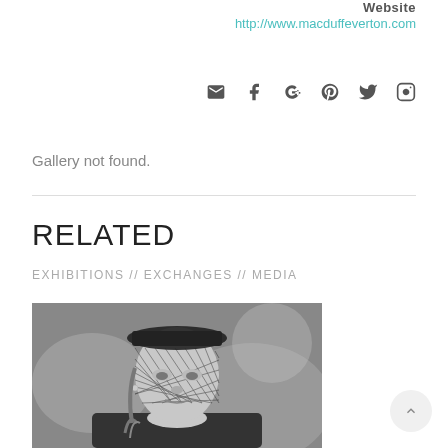Website
http://www.macduffeverton.com
[Figure (infographic): Social media icons: email/envelope, Facebook, Google+, Pinterest, Twitter, Instagram]
Gallery not found.
RELATED
EXHIBITIONS // EXCHANGES // MEDIA
[Figure (photo): Black and white portrait photo of a woman wearing a mesh/net veil over her face]